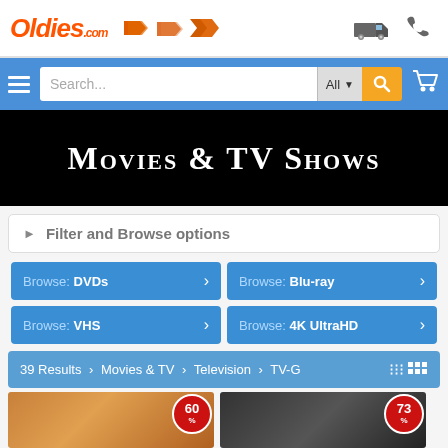[Figure (screenshot): Oldies.com website header with logo, tag icon, truck icon, and phone icon]
[Figure (screenshot): Blue search bar with hamburger menu, search input, All dropdown, orange search button, and cart icon]
Movies & TV Shows
▶ Filter and Browse options
Browse: DVDs ›
Browse: Blu-ray ›
Browse: VHS ›
Browse: 4K UltraHD ›
39 Results › Movies & TV › Television › TV-G
[Figure (photo): Two product thumbnails with 60% and 73% discount badges]